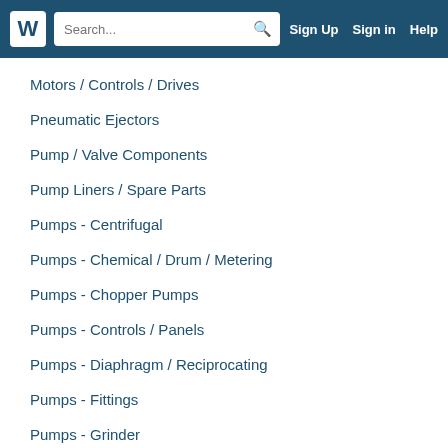W | Search... | Sign Up | Sign in | Help
Motors / Controls / Drives
Pneumatic Ejectors
Pump / Valve Components
Pump Liners / Spare Parts
Pumps - Centrifugal
Pumps - Chemical / Drum / Metering
Pumps - Chopper Pumps
Pumps - Controls / Panels
Pumps - Diaphragm / Reciprocating
Pumps - Fittings
Pumps - Grinder